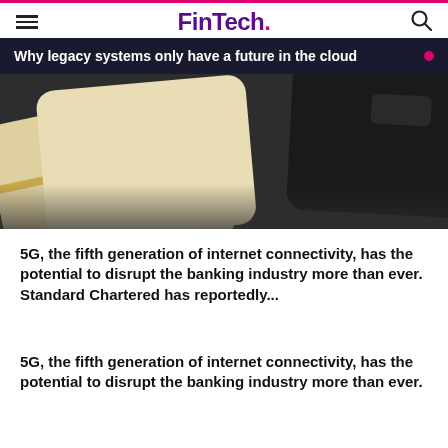FinTech.
Why legacy systems only have a future in the cloud
[Figure (photo): Close-up photo of gold and black SIM cards or credit cards against a dark grey background]
5G, the fifth generation of internet connectivity, has the potential to disrupt the banking industry more than ever. Standard Chartered has reportedly...
5G, the fifth generation of internet connectivity, has the potential to disrupt the banking industry more than ever.